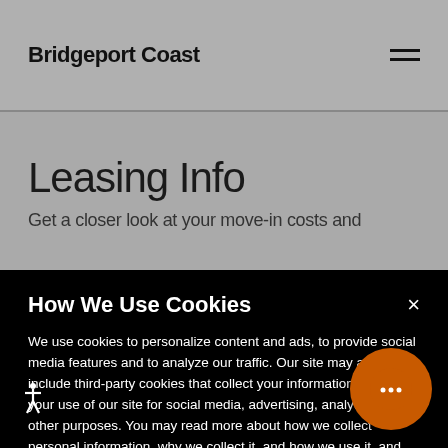Bridgeport Coast
Leasing Info
Get a closer look at your move-in costs and
How We Use Cookies
We use cookies to personalize content and ads, to provide social media features and to analyze our traffic. Our site may also include third-party cookies that collect your information about your use of our site for social media, advertising, analytics and other purposes. You may read more about how we collect personal information, why we collect it, and how we use it, and about our and third-party cookies, in our Privacy Policy. The preference center is accessible at a time through the "Manage Privacy Preferences" button located on every page.